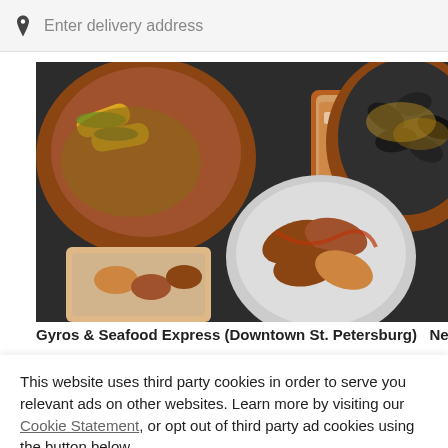[Figure (screenshot): Search bar with location pin icon and placeholder text 'Enter delivery address' on a light gray background]
[Figure (photo): Overhead food photography showing bowls and plates of various dishes including corn, mussels, chicken wings, and a beverage on a dark surface]
Gyros & Seafood Express (Downtown St. Petersburg)   New
This website uses third party cookies in order to serve you relevant ads on other websites. Learn more by visiting our Cookie Statement, or opt out of third party ad cookies using the button below.
OPT OUT
GOT IT